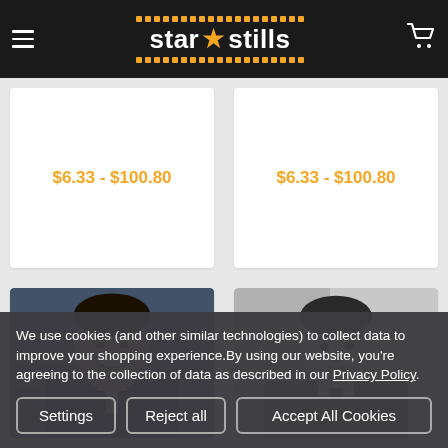star stills
$6.33 - $100.80
$6.33 - $100.80
[Figure (photo): Color portrait photo of a smiling man in a dark suit]
[Figure (photo): Black and white portrait photo of a man in a dark suit]
We use cookies (and other similar technologies) to collect data to improve your shopping experience.By using our website, you're agreeing to the collection of data as described in our Privacy Policy.